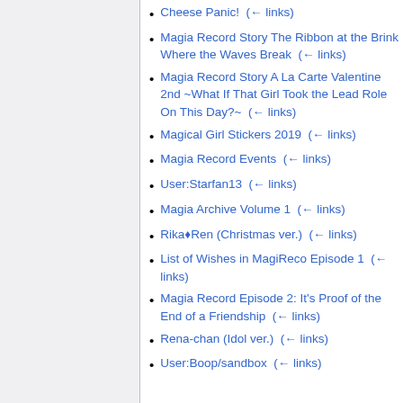Cheese Panic!  (← links)
Magia Record Story The Ribbon at the Brink Where the Waves Break  (← links)
Magia Record Story A La Carte Valentine 2nd ~What If That Girl Took the Lead Role On This Day?~  (← links)
Magical Girl Stickers 2019  (← links)
Magia Record Events  (← links)
User:Starfan13  (← links)
Magia Archive Volume 1  (← links)
Rika♦Ren (Christmas ver.)  (← links)
List of Wishes in MagiReco Episode 1  (← links)
Magia Record Episode 2: It's Proof of the End of a Friendship  (← links)
Rena-chan (Idol ver.)  (← links)
User:Boop/sandbox  (← links)